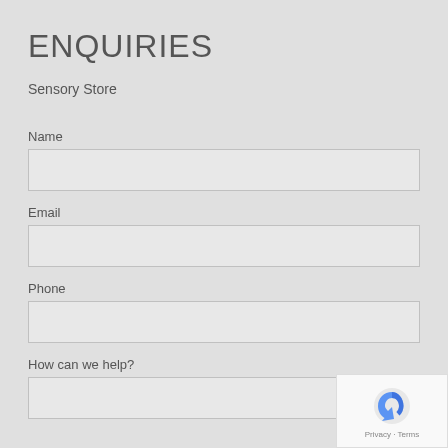ENQUIRIES
Sensory Store
Name
Email
Phone
How can we help?
[Figure (other): reCAPTCHA widget with Privacy and Terms links]